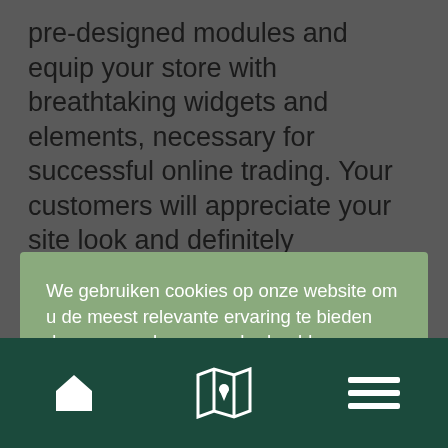pre-designed modules and equip your store with breathtaking widgets and elements, necessary for successful online trading. Your customers will appreciate your site look and definitely recommend
[Figure (screenshot): Cookie consent overlay dialog with green background, containing Dutch text about cookie usage, a 'Meer info' button and an 'Accepteren' button]
options, features, innovative tools, high-quality images, top-notch plugins and many other elemets
Navigation bar with home icon, map/location icon, and hamburger menu icon on dark green background